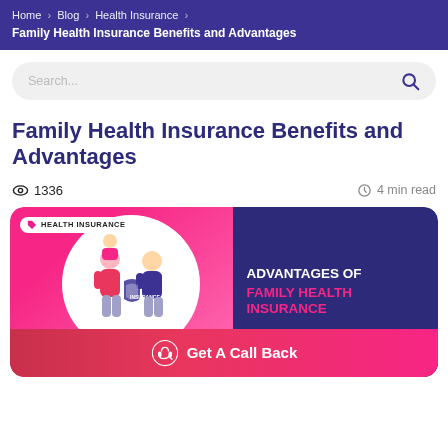Home > Blog > Health Insurance > Family Health Insurance Benefits and Advantages
Search...
Family Health Insurance Benefits and Advantages
👁 1336   🕐 4 min read
[Figure (illustration): Health insurance promotional banner with pink and dark purple background. Left side shows a white circle with an illustrated family (parents and child) holding an insurance shield. A white tag badge reads 'HEALTH INSURANCE'. Right side shows text: 'ADVANTAGES OF' in white and 'FAMILY HEALTH INSURANCE' in pink. A scroll-up button is in the bottom-right corner. A pink 'Get A Call Back' button with headset icon is at the bottom.]